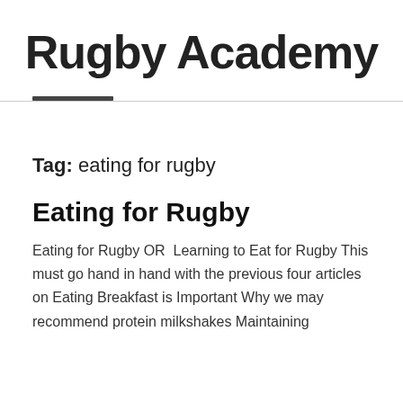Rugby Academy
Tag: eating for rugby
Eating for Rugby
Eating for Rugby OR  Learning to Eat for Rugby This must go hand in hand with the previous four articles on Eating Breakfast is Important Why we may recommend protein milkshakes Maintaining